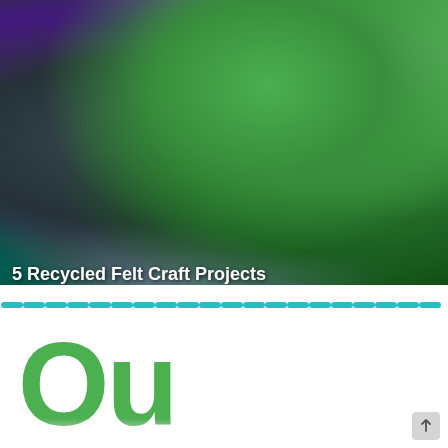[Figure (photo): Close-up photograph of colorful recycled felt fabric scraps in various colors including bright green, purple, tan/beige, teal, and dark green, piled together in an artistic arrangement]
5 Recycled Felt Craft Projects
lftingagreenworld.com
[Figure (other): Teal dashed horizontal divider line separating the photo from the content below]
[Figure (logo): Large green bold stylized text or logo letters partially visible at the bottom of the page, appearing to show letters 'r Ou' in a large green bold font with a reflection effect below]